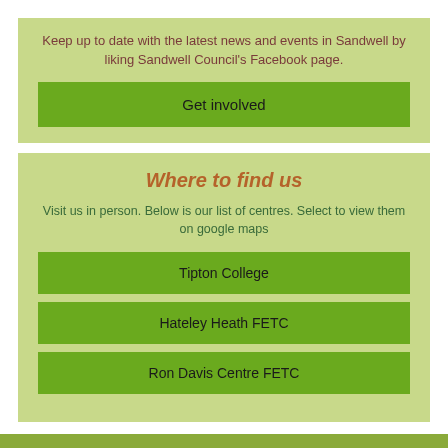Keep up to date with the latest news and events in Sandwell by liking Sandwell Council's Facebook page.
Get involved
Where to find us
Visit us in person. Below is our list of centres. Select to view them on google maps
Tipton College
Hateley Heath FETC
Ron Davis Centre FETC